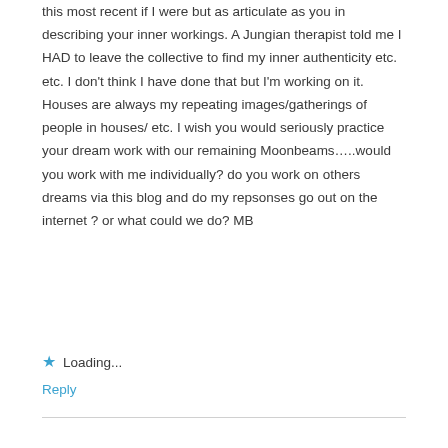this most recent if I were but as articulate as you in describing your inner workings. A Jungian therapist told me I HAD to leave the collective to find my inner authenticity etc. etc. I don't think I have done that but I'm working on it. Houses are always my repeating images/gatherings of people in houses/ etc. I wish you would seriously practice your dream work with our remaining Moonbeams…..would you work with me individually? do you work on others dreams via this blog and do my repsonses go out on the internet ? or what could we do? MB
Loading...
Reply